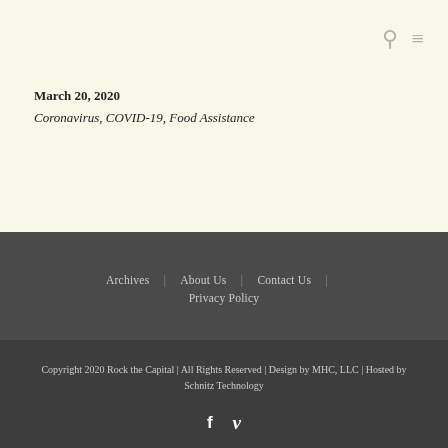Search and Menu icons
March 20, 2020
Coronavirus, COVID-19, Food Assistance
Archives | About Us | Contact Us | Privacy Policy
Copyright 2020 Rock the Capital | All Rights Reserved | Design by MHC, LLC | Hosted by Schnitz Technology